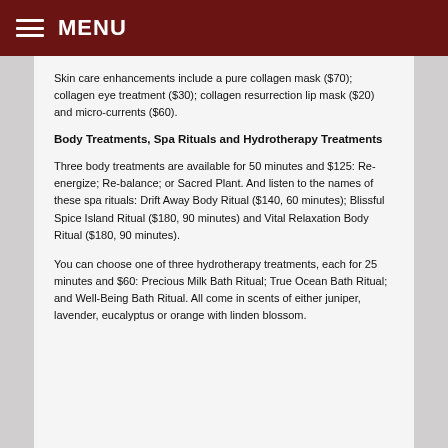MENU
Skin care enhancements include a pure collagen mask ($70); collagen eye treatment ($30); collagen resurrection lip mask ($20) and micro-currents ($60).
Body Treatments, Spa Rituals and Hydrotherapy Treatments
Three body treatments are available for 50 minutes and $125: Re-energize; Re-balance; or Sacred Plant. And listen to the names of these spa rituals: Drift Away Body Ritual ($140, 60 minutes); Blissful Spice Island Ritual ($180, 90 minutes) and Vital Relaxation Body Ritual ($180, 90 minutes).
You can choose one of three hydrotherapy treatments, each for 25 minutes and $60: Precious Milk Bath Ritual; True Ocean Bath Ritual; and Well-Being Bath Ritual. All come in scents of either juniper, lavender, eucalyptus or orange with linden blossom.